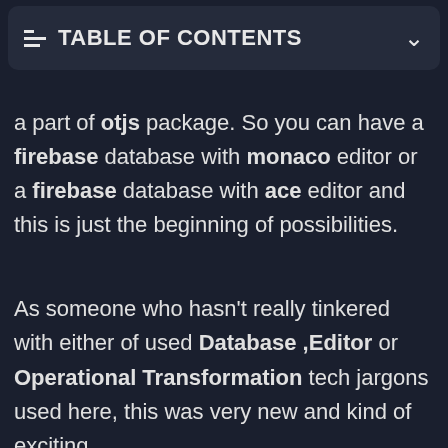TABLE OF CONTENTS
a part of otjs package. So you can have a firebase database with monaco editor or a firebase database with ace editor and this is just the beginning of possibilities.
As someone who hasn't really tinkered with either of used Database ,Editor or Operational Transformation tech jargons used here, this was very new and kind of exciting.
I randomly opened a couple of code files to see what's happening to only be clueless.